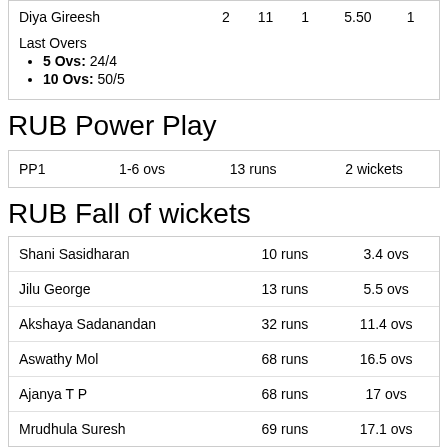| Player |  |  |  |  |  |
| --- | --- | --- | --- | --- | --- |
| Diya Gireesh | 2 | 11 | 1 | 5.50 | 1 |
Last Overs
5 Ovs: 24/4
10 Ovs: 50/5
RUB Power Play
| PP1 | 1-6 ovs | 13 runs | 2 wickets |
| --- | --- | --- | --- |
RUB Fall of wickets
| Shani Sasidharan | 10 runs | 3.4 ovs |
| Jilu George | 13 runs | 5.5 ovs |
| Akshaya Sadanandan | 32 runs | 11.4 ovs |
| Aswathy Mol | 68 runs | 16.5 ovs |
| Ajanya T P | 68 runs | 17 ovs |
| Mrudhula Suresh | 69 runs | 17.1 ovs |